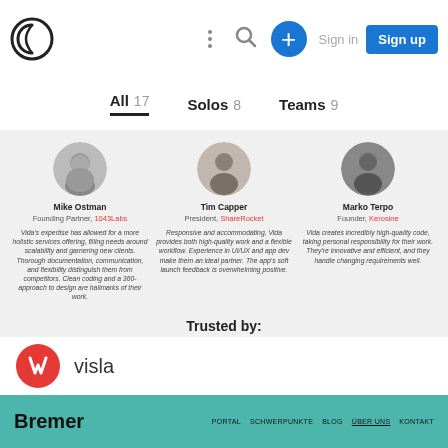Navigation bar with logo, menu icons, Sign in and Sign up buttons
All 17   Solos 8   Teams 9
[Figure (photo): Headshot of Mike Ostman]
Mike Ostman
Founding Partner, 1043Labs
Vida's expertise has allowed for a more holistic services offering, filling needs around scalability and garnering new clients. Thorough documentation, communication, and flexibility distinguish them from competitors. Clean coding and a 360-approach to design are hallmarks of their work.
[Figure (photo): Headshot of Tim Capper]
Tim Capper
President, ShareRocket
Responsive and accommodating, Vida provides both high-quality work and a flexible workflow. Experience in UI/UX and app dev make them an ideal partner. The app's soft launch feedback is overwhelming positive.
[Figure (photo): Headshot of Marko Terpo]
Marko Terpo
Founder, Kerosine
Vida creates incredibly high-quality code, taking personal responsibility for their work. They're innovative and efficient, and they handle changing requirements well.
Trusted by:
[Figure (logo): Visla logo - red circle with white S letter]
visla
Bremer   PORTAL   SCHWERPUNKTE   BLOG   ÜBER UNS   KONTAKT